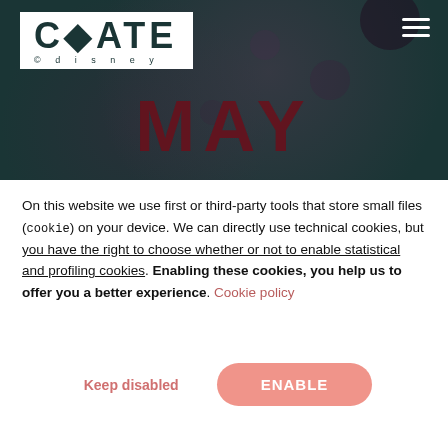[Figure (logo): CATE Disney logo — white box with 'CATE' in large bold letters and a small rocket icon, 'disney' in small spaced letters below, on dark teal background]
MAY
On this website we use first or third-party tools that store small files (cookie) on your device. We can directly use technical cookies, but you have the right to choose whether or not to enable statistical and profiling cookies. Enabling these cookies, you help us to offer you a better experience. Cookie policy
Keep disabled
ENABLE